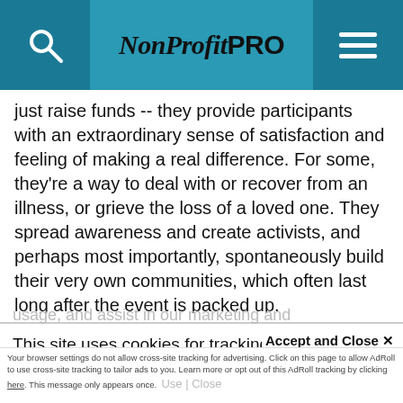NonProfit PRO
just raise funds -- they provide participants with an extraordinary sense of satisfaction and feeling of making a real difference. For some, they're a way to deal with or recover from an illness, or grieve the loss of a loved one. They spread awareness and create activists, and perhaps most importantly, spontaneously build their very own communities, which often last long after the event is packed up.
This site uses cookies for tracking purposes. By continuing to browse our website, you agree to the storing of first- and third-party cookies on your device to enhance site navigation, analyze site usage, and assist in our marketing and
Accept and Close ✕
Your browser settings do not allow cross-site tracking for advertising. Click on this page to allow AdRoll to use cross-site tracking to tailor ads to you. Learn more or opt out of this AdRoll tracking by clicking here. This message only appears once.